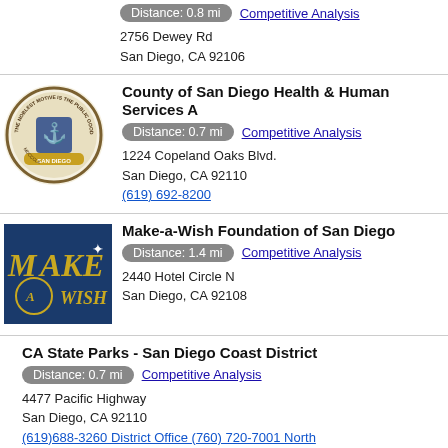Distance: 0.8 mi
Competitive Analysis
2756 Dewey Rd
San Diego, CA 92106
County of San Diego Health & Human Services A
[Figure (logo): County of San Diego seal logo]
Distance: 0.7 mi
Competitive Analysis
1224 Copeland Oaks Blvd.
San Diego, CA 92110
(619) 692-8200
Make-a-Wish Foundation of San Diego
[Figure (logo): Make-a-Wish Foundation logo on blue background]
Distance: 1.4 mi
Competitive Analysis
2440 Hotel Circle N
San Diego, CA 92108
CA State Parks - San Diego Coast District
Distance: 0.7 mi
Competitive Analysis
4477 Pacific Highway
San Diego, CA 92110
(619)688-3260 District Office (760) 720-7001 North
(619)688-3385 Special Events